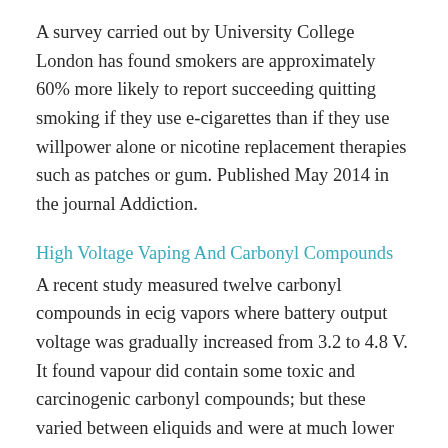A survey carried out by University College London has found smokers are approximately 60% more likely to report succeeding quitting smoking if they use e-cigarettes than if they use willpower alone or nicotine replacement therapies such as patches or gum. Published May 2014 in the journal Addiction.
High Voltage Vaping And Carbonyl Compounds
A recent study measured twelve carbonyl compounds in ecig vapors where battery output voltage was gradually increased from 3.2 to 4.8 V. It found vapour did contain some toxic and carcinogenic carbonyl compounds; but these varied between eliquids and were at much lower levels than cigarette smoke when lower voltages are used.